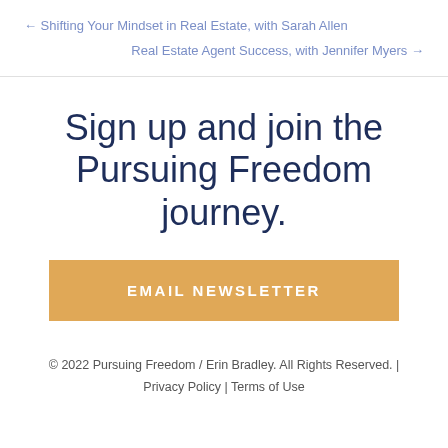← Shifting Your Mindset in Real Estate, with Sarah Allen
Real Estate Agent Success, with Jennifer Myers →
Sign up and join the Pursuing Freedom journey.
EMAIL NEWSLETTER
© 2022 Pursuing Freedom / Erin Bradley. All Rights Reserved. | Privacy Policy | Terms of Use